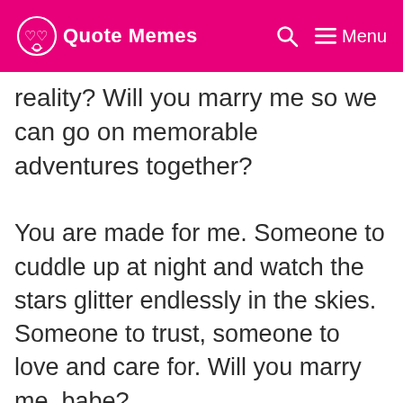Quote Memes  Menu
reality? Will you marry me so we can go on memorable adventures together?
You are made for me. Someone to cuddle up at night and watch the stars glitter endlessly in the skies. Someone to trust, someone to love and care for. Will you marry me, babe?